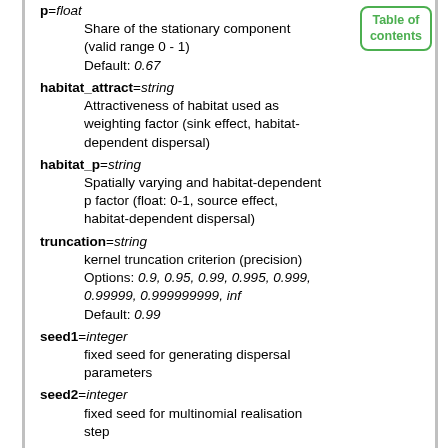p=float
    Share of the stationary component (valid range 0 - 1)
    Default: 0.67
habitat_attract=string
    Attractiveness of habitat used as weighting factor (sink effect, habitat-dependent dispersal)
habitat_p=string
    Spatially varying and habitat-dependent p factor (float: 0-1, source effect, habitat-dependent dispersal)
truncation=string
    kernel truncation criterion (precision)
    Options: 0.9, 0.95, 0.99, 0.995, 0.999, 0.99999, 0.999999999, inf
    Default: 0.99
seed1=integer
    fixed seed for generating dispersal parameters
seed2=integer
    fixed seed for multinomial realisation step
output=name
    Base name for output raster
    Default: fidimo_out